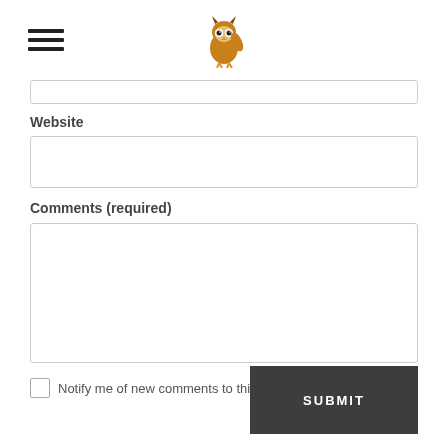[hamburger menu icon] [owl logo]
Website
Comments (required)
Notify me of new comments to this post by email
SUBMIT